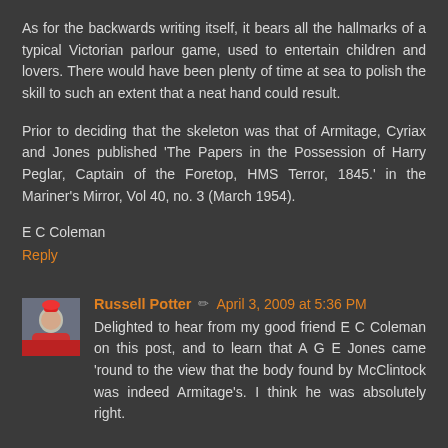As for the backwards writing itself, it bears all the hallmarks of a typical Victorian parlour game, used to entertain children and lovers. There would have been plenty of time at sea to polish the skill to such an extent that a neat hand could result.
Prior to deciding that the skeleton was that of Armitage, Cyriax and Jones published 'The Papers in the Possession of Harry Peglar, Captain of the Foretop, HMS Terror, 1845.' in the Mariner's Mirror, Vol 40, no. 3 (March 1954).
E C Coleman
Reply
Russell Potter ✏ April 3, 2009 at 5:36 PM
Delighted to hear from my good friend E C Coleman on this post, and to learn that A G E Jones came 'round to the view that the body found by McClintock was indeed Armitage's. I think he was absolutely right.